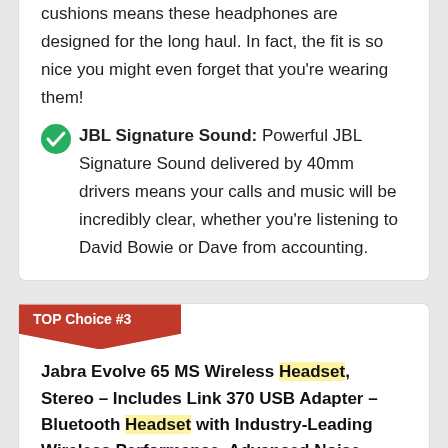cushions means these headphones are designed for the long haul. In fact, the fit is so nice you might even forget that you're wearing them!
JBL Signature Sound: Powerful JBL Signature Sound delivered by 40mm drivers means your calls and music will be incredibly clear, whether you're listening to David Bowie or Dave from accounting.
TOP Choice #3
Jabra Evolve 65 MS Wireless Headset, Stereo – Includes Link 370 USB Adapter – Bluetooth Headset with Industry-Leading Wireless Performance, Advanced Noise-Cancelling